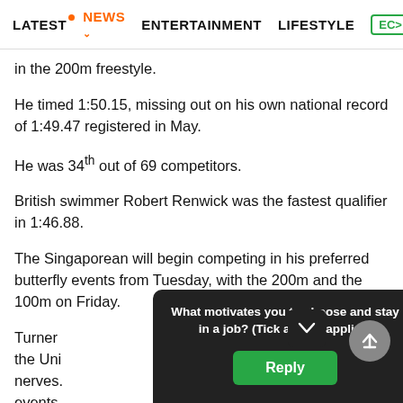LATEST  NEWS  ENTERTAINMENT  LIFESTYLE  ECO
in the 200m freestyle.
He timed 1:50.15, missing out on his own national record of 1:49.47 registered in May.
He was 34th out of 69 competitors.
British swimmer Robert Renwick was the fastest qualifier in 1:46.88.
The Singaporean will begin competing in his preferred butterfly events from Tuesday, with the 200m and the 100m on Friday.
Turner [obscured by popup] ver, the Uni[obscured] his nerves[obscured] he fly events.
[Figure (screenshot): Survey popup overlay: 'What motivates you to choose and stay in a job? (Tick all that applies)' with a green Reply button on dark background]